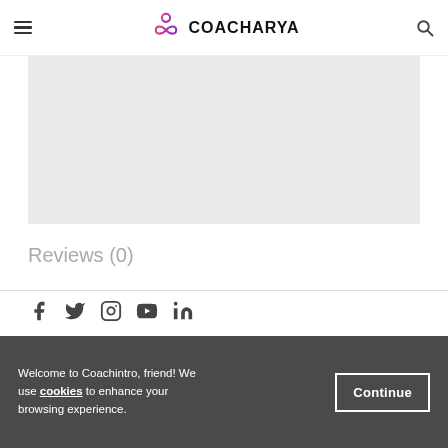COACHARYA
[Figure (other): Gray rectangular placeholder content area]
Reviews (0)
[Figure (other): Social media icons row: Facebook, Twitter, Instagram, YouTube, LinkedIn]
Welcome to Coachintro, friend! We use cookies to enhance your browsing experience.